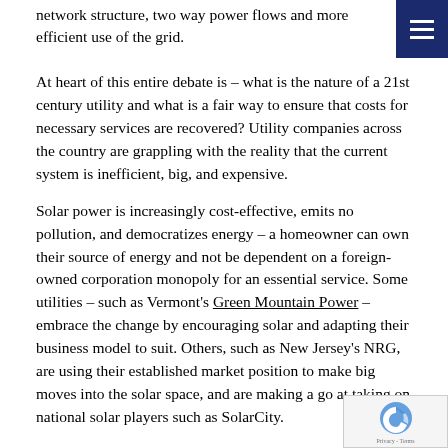network structure, two way power flows and more efficient use of the grid.
At heart of this entire debate is – what is the nature of a 21st century utility and what is a fair way to ensure that costs for necessary services are recovered? Utility companies across the country are grappling with the reality that the current system is inefficient, big, and expensive.
Solar power is increasingly cost-effective, emits no pollution, and democratizes energy – a homeowner can own their source of energy and not be dependent on a foreign-owned corporation monopoly for an essential service. Some utilities – such as Vermont's Green Mountain Power – embrace the change by encouraging solar and adapting their business model to suit. Others, such as New Jersey's NRG, are using their established market position to make big moves into the solar space, and are making a go at taking on national solar players such as SolarCity.
In Maine, we look to the PUC to reach a sensible decision that is in the best interests of Maine's ratepayers and not Spanish